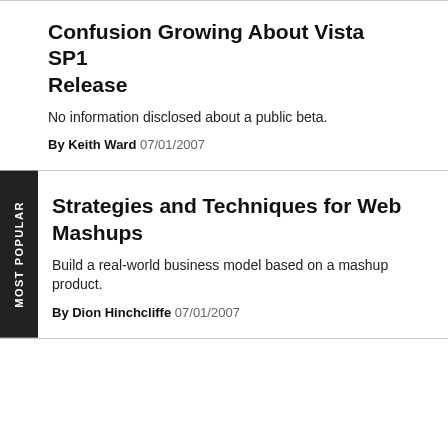Confusion Growing About Vista SP1 Release
No information disclosed about a public beta.
By Keith Ward 07/01/2007
Strategies and Techniques for Web Mashups
Build a real-world business model based on a mashup product.
By Dion Hinchcliffe 07/01/2007